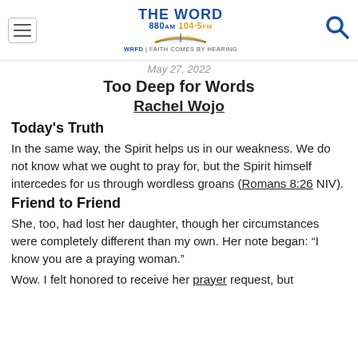THE WORD 880AM 104.5FM WRFD | FAITH COMES BY HEARING
May 27, 2022
Too Deep for Words
Rachel Wojo
Today's Truth
In the same way, the Spirit helps us in our weakness. We do not know what we ought to pray for, but the Spirit himself intercedes for us through wordless groans (Romans 8:26 NIV).
Friend to Friend
She, too, had lost her daughter, though her circumstances were completely different than my own. Her note began: “I know you are a praying woman.”
Wow. I felt honored to receive her prayer request, but